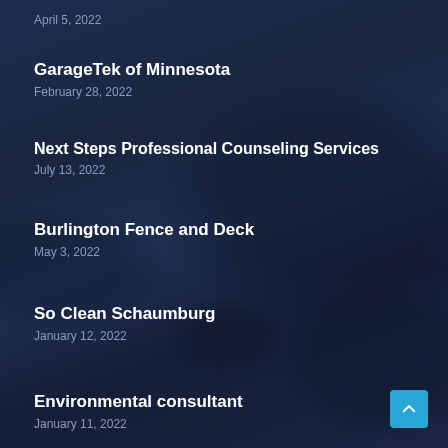April 5, 2022
GarageTek of Minnesota
February 28, 2022
Next Steps Professional Counseling Services
July 13, 2022
Burlington Fence and Deck
May 3, 2022
So Clean Schaumburg
January 12, 2022
Environmental consultant
January 11, 2022